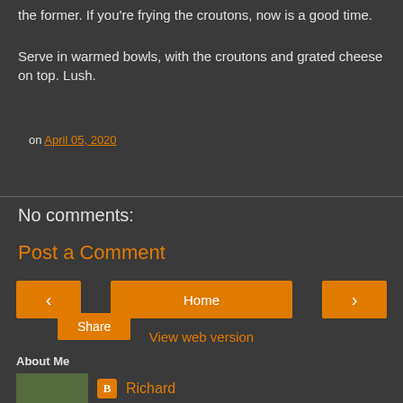the former. If you're frying the croutons, now is a good time.
Serve in warmed bowls, with the croutons and grated cheese on top. Lush.
on April 05, 2020
Share
No comments:
Post a Comment
Home
View web version
About Me
Richard